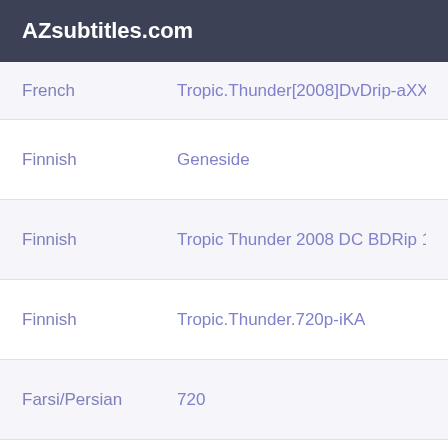AZsubtitles.com
| Language | Release |
| --- | --- |
| French | Tropic.Thunder[2008]DvDrip-aXXo.PR |
| Finnish | Geneside |
| Finnish | Tropic Thunder 2008 DC BDRip 1080p |
| Finnish | Tropic.Thunder.720p-iKA |
| Farsi/Persian | 720 |
| Farsi/Persian | DvDrip-aXXo |